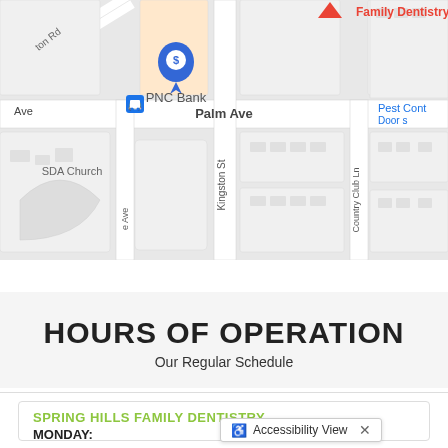[Figure (map): Google Maps screenshot showing area around Spring Hills Family Dentistry with street labels: ton Rd, Ave, Palm Ave, Kingston St, Country Club Ln, SDA Church, Pest Cont / Door s. Shows PNC Bank marker with blue dollar sign pin, and a bus stop icon. Red pin at top labeled Family Dentistry.]
HOURS OF OPERATION
Our Regular Schedule
SPRING HILLS FAMILY DENTISTRY
MONDAY: